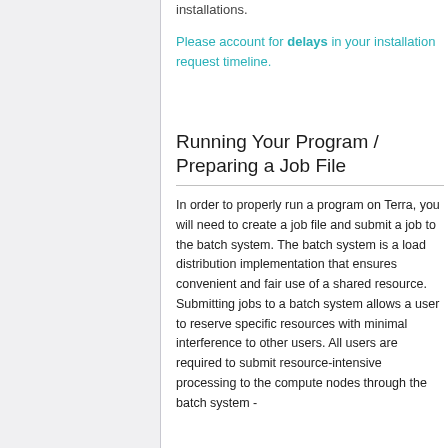installations.
Please account for delays in your installation request timeline.
Running Your Program / Preparing a Job File
In order to properly run a program on Terra, you will need to create a job file and submit a job to the batch system. The batch system is a load distribution implementation that ensures convenient and fair use of a shared resource. Submitting jobs to a batch system allows a user to reserve specific resources with minimal interference to other users. All users are required to submit resource-intensive processing to the compute nodes through the batch system -